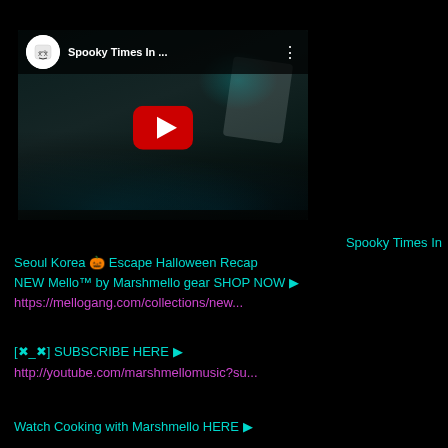[Figure (screenshot): YouTube video thumbnail showing Marshmello concert footage with crowd. Video title 'Spooky Times In ...' shown in top bar with Marshmello avatar and three-dot menu. Large red YouTube play button in center.]
Spooky Times In Seoul Korea 🎃 Escape Halloween Recap
NEW Mello™ by Marshmello gear SHOP NOW ▶
https://mellogang.com/collections/new...
[✖_✖] SUBSCRIBE HERE ▶
http://youtube.com/marshmellomusic?su...
Watch Cooking with Marshmello HERE ▶